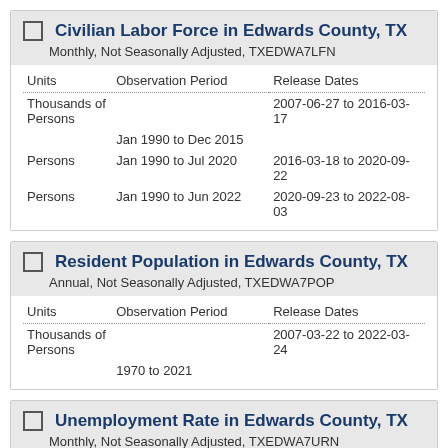Civilian Labor Force in Edwards County, TX
Monthly, Not Seasonally Adjusted, TXEDWA7LFN
| Units | Observation Period | Release Dates |
| --- | --- | --- |
| Thousands of Persons |  | 2007-06-27 to 2016-03-17 |
|  | Jan 1990 to Dec 2015 |  |
| Persons | Jan 1990 to Jul 2020 | 2016-03-18 to 2020-09-22 |
| Persons | Jan 1990 to Jun 2022 | 2020-09-23 to 2022-08-03 |
Resident Population in Edwards County, TX
Annual, Not Seasonally Adjusted, TXEDWA7POP
| Units | Observation Period | Release Dates |
| --- | --- | --- |
| Thousands of Persons |  | 2007-03-22 to 2022-03-24 |
|  | 1970 to 2021 |  |
Unemployment Rate in Edwards County, TX
Monthly, Not Seasonally Adjusted, TXEDWA7URN